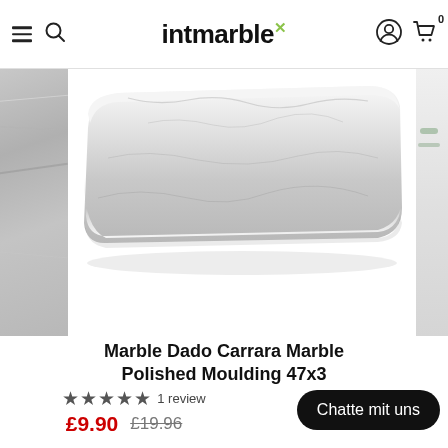intmarble
[Figure (photo): Marble Dado Carrara Marble polished moulding strip product photo showing a curved white/grey marble trim piece]
Marble Dado Carrara Marble Polished Moulding 47x3
★★★★★ 1 review
£9.90  £19.96
Chatte mit uns